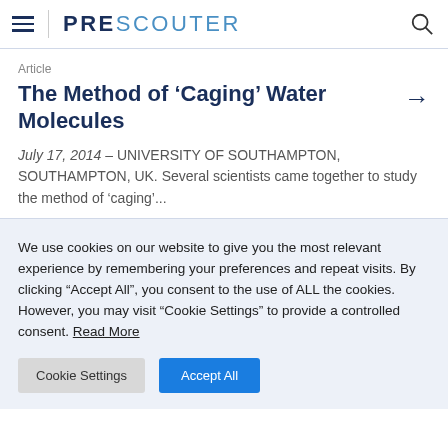PRESCOUTER
Article
The Method of ‘Caging’ Water Molecules
July 17, 2014 – UNIVERSITY OF SOUTHAMPTON, SOUTHAMPTON, UK. Several scientists came together to study the method of ‘caging’...
We use cookies on our website to give you the most relevant experience by remembering your preferences and repeat visits. By clicking “Accept All”, you consent to the use of ALL the cookies. However, you may visit “Cookie Settings” to provide a controlled consent. Read More